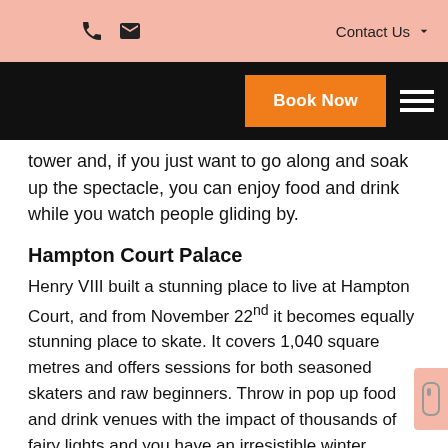Contact Us
tower and, if you just want to go along and soak up the spectacle, you can enjoy food and drink while you watch people gliding by.
Hampton Court Palace
Henry VIII built a stunning place to live at Hampton Court, and from November 22nd it becomes equally stunning place to skate. It covers 1,040 square metres and offers sessions for both seasoned skaters and raw beginners. Throw in pop up food and drink venues with the impact of thousands of fairy lights and you have an irresistible winter wonderland.
Hyde Park
The ice rink which is open from November 21st in Hyde Park is the biggest outdoor rink in the UK. It stretches out on all sides of the Victorian bandstand and is lit up